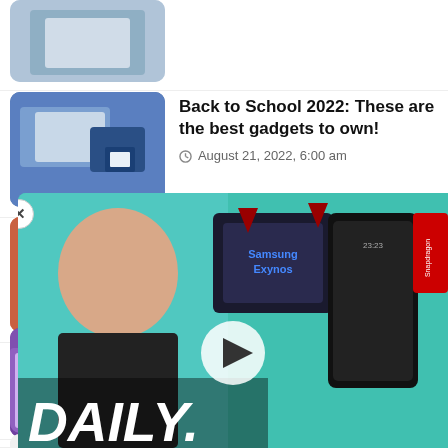[Figure (photo): Partial article thumbnail at top, cropped]
Back to School 2022: These are the best gadgets to own!
August 21, 2022, 6:00 am
[Figure (photo): OnePlus 10T phone on table]
OnePlus 10T review: good, but unrealistic (video)
August 20, 2022, 4:00 am
[Figure (photo): MacBook Pro keyboard close-up]
Best deals today: Apple's 16-inch MacBook Pro, OnePlus 10 Pro, AirPods Pro and more
August 19, 2022, 6:58 pm
[Figure (photo): Security camera]
Score up to 28 per Security systems a cameras
August 19, 2022, 4:06 pm
[Figure (photo): Blue app icon]
Here's what to expect from Apple's September event in 2022
August 19, 2022, 12:27 pm
[Figure (screenshot): Video overlay showing DAILY tech show with host and Snapdragon/Samsung Exynos chips]